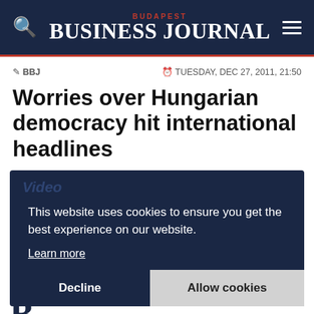BUDAPEST BUSINESS JOURNAL
BBJ  TUESDAY, DEC 27, 2011, 21:50
Worries over Hungarian democracy hit international headlines
This website uses cookies to ensure you get the best experience on our website. Learn more
Decline  Allow cookies